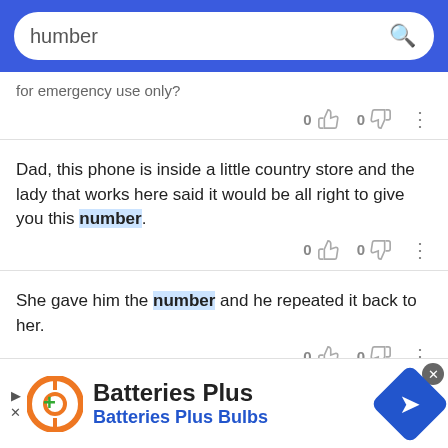humber [search bar]
for emergency use only?
0  0
Dad, this phone is inside a little country store and the lady that works here said it would be all right to give you this number.
0  0
She gave him the number and he repeated it back to her.
0  0
Noting the page number, she snapped the book
[Figure (screenshot): Batteries Plus advertisement banner at the bottom of the screen with orange logo, 'Batteries Plus' title, 'Batteries Plus Bulbs' subtitle in blue, and blue diamond navigation arrow on the right.]